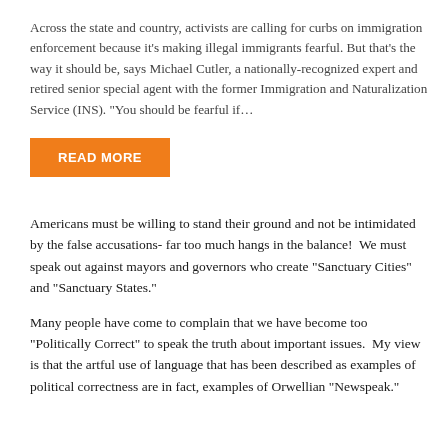Across the state and country, activists are calling for curbs on immigration enforcement because it's making illegal immigrants fearful. But that's the way it should be, says Michael Cutler, a nationally-recognized expert and retired senior special agent with the former Immigration and Naturalization Service (INS). “You should be fearful if…
READ MORE
Americans must be willing to stand their ground and not be intimidated by the false accusations- far too much hangs in the balance!  We must speak out against mayors and governors who create “Sanctuary Cities” and “Sanctuary States.”
Many people have come to complain that we have become too “Politically Correct” to speak the truth about important issues.  My view is that the artful use of language that has been described as examples of political correctness are in fact, examples of Orwellian “Newspeak.”